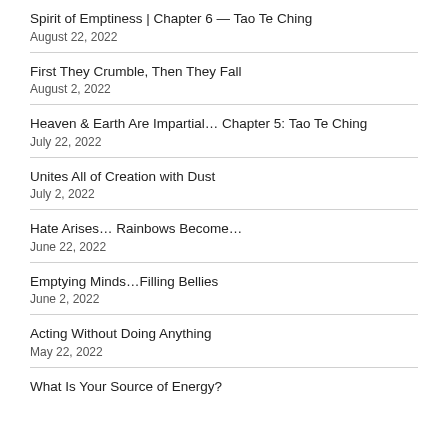Spirit of Emptiness | Chapter 6 — Tao Te Ching
August 22, 2022
First They Crumble, Then They Fall
August 2, 2022
Heaven & Earth Are Impartial… Chapter 5: Tao Te Ching
July 22, 2022
Unites All of Creation with Dust
July 2, 2022
Hate Arises… Rainbows Become…
June 22, 2022
Emptying Minds…Filling Bellies
June 2, 2022
Acting Without Doing Anything
May 22, 2022
What Is Your Source of Energy?